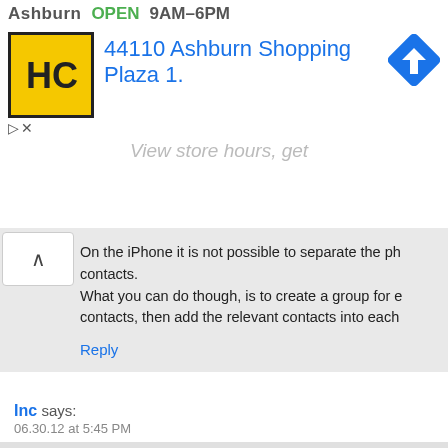[Figure (screenshot): Advertisement banner showing HC logo, address '44110 Ashburn Shopping Plaza 1.', OPEN 9AM-6PM, navigation arrow icon, and 'View store hours, get' link]
On the iPhone it is not possible to separate the ph contacts.
What you can do though, is to create a group for e contacts, then add the relevant contacts into each
Reply
Inc says:
06.30.12 at 5:45 PM
I have one problem with my IPAD 1, 3.2.2
I want to sync my notes with my gmail, but i could not m microsoft exchange, but i receive just CALENDAR, CON
If you could solve it. please help me.
Reply